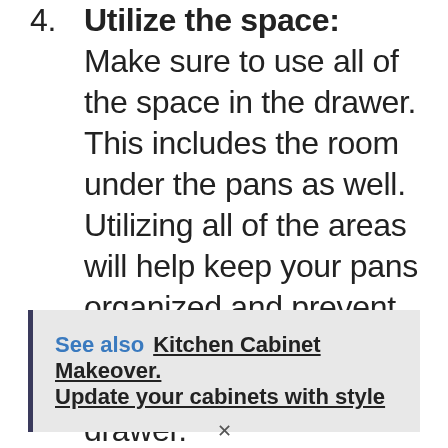4. Utilize the space: Make sure to use all of the space in the drawer. This includes the room under the pans as well. Utilizing all of the areas will help keep your pans organized and prevent them from being crammed into the drawer.
See also  Kitchen Cabinet Makeover. Update your cabinets with style